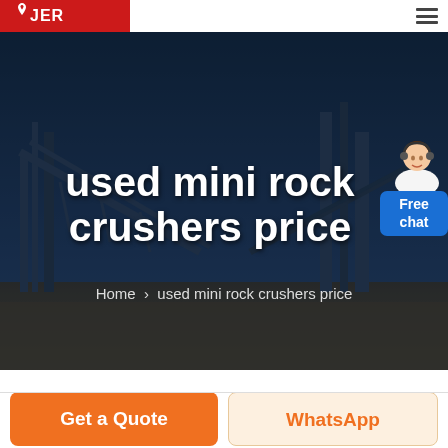JER logo and navigation header
[Figure (photo): Dark industrial background image showing mining/crushing equipment and conveyors at dusk, used as hero banner backdrop]
used mini rock crushers price
Home > used mini rock crushers price
[Figure (illustration): Customer service avatar/mascot — woman with headset, beside a blue Free chat button]
Get a Quote
WhatsApp